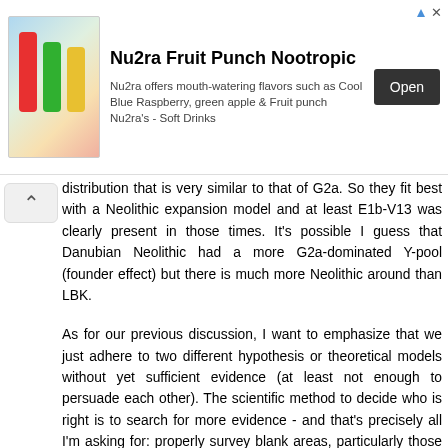[Figure (other): Advertisement banner for Nu2ra Fruit Punch Nootropic showing colorful drink bottles, product description text, and an Open button]
distribution that is very similar to that of G2a. So they fit best with a Neolithic expansion model and at least E1b-V13 was clearly present in those times. It's possible I guess that Danubian Neolithic had a more G2a-dominated Y-pool (founder effect) but there is much more Neolithic around than LBK.
As for our previous discussion, I want to emphasize that we just adhere to two different hypothesis or theoretical models without yet sufficient evidence (at least not enough to persuade each other). The scientific method to decide who is right is to search for more evidence - and that's precisely all I'm asking for: properly survey blank areas, particularly those with the greatest potential. It's just like finding the Higgs boson: what do scientists do? Argue and argue endlessly until one gives up? Nope: build a hadron collider under Geneva and test all the possible range of options.